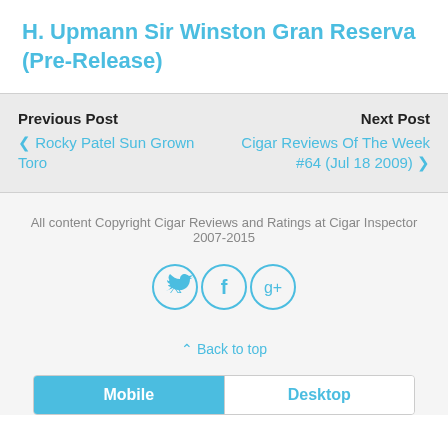H. Upmann Sir Winston Gran Reserva (Pre-Release)
Previous Post
‹ Rocky Patel Sun Grown Toro
Next Post
Cigar Reviews Of The Week #64 (Jul 18 2009) ›
All content Copyright Cigar Reviews and Ratings at Cigar Inspector 2007-2015
[Figure (other): Social media icons: Twitter, Facebook, Google+]
⌃ Back to top
Mobile | Desktop